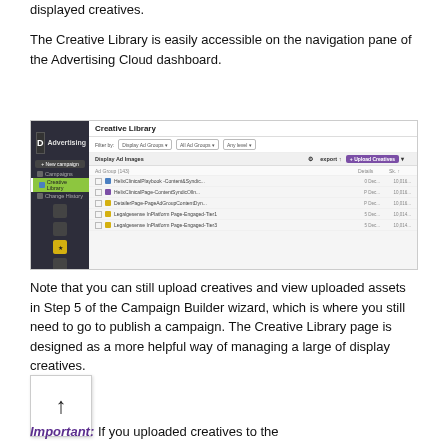displayed creatives.
The Creative Library is easily accessible on the navigation pane of the Advertising Cloud dashboard.
[Figure (screenshot): Screenshot of the Advertising Cloud dashboard showing the Creative Library navigation item selected in the left sidebar, with a list of Display Ad Images in the main content area including filter controls and an Upload Creatives button.]
Note that you can still upload creatives and view uploaded assets in Step 5 of the Campaign Builder wizard, which is where you still need to go to publish a campaign. The Creative Library page is designed as a more helpful way of managing a large of display creatives.
Important: If you uploaded creatives to the